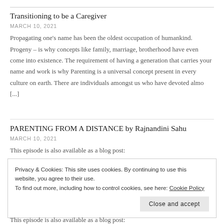Transitioning to be a Caregiver
MARCH 10, 2021
Propagating one's name has been the oldest occupation of humankind. Progeny – is why concepts like family, marriage, brotherhood have even come into existence. The requirement of having a generation that carries your name and work is why Parenting is a universal concept present in every culture on earth. There are individuals amongst us who have devoted almo [...]
PARENTING FROM A DISTANCE by Rajnandini Sahu
MARCH 10, 2021
This episode is also available as a blog post:
Privacy & Cookies: This site uses cookies. By continuing to use this website, you agree to their use.
To find out more, including how to control cookies, see here: Cookie Policy
Close and accept
This episode is also available as a blog post: